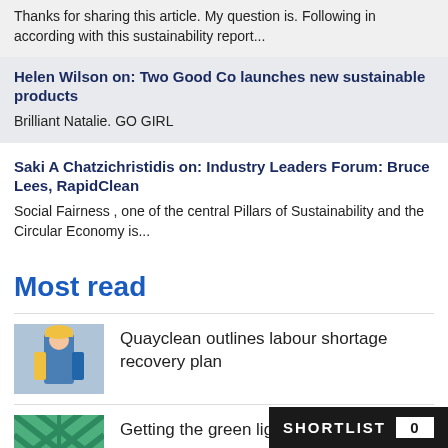Thanks for sharing this article. My question is. Following in according with this sustainability report...
Helen Wilson on: Two Good Co launches new sustainable products
Brilliant Natalie. GO GIRL
Saki A Chatzichristidis on: Industry Leaders Forum: Bruce Lees, RapidClean
Social Fairness , one of the central Pillars of Sustainability and the Circular Economy is...
Most read
Quayclean outlines labour shortage recovery plan
Getting the green light f...
SHORTLIST 0